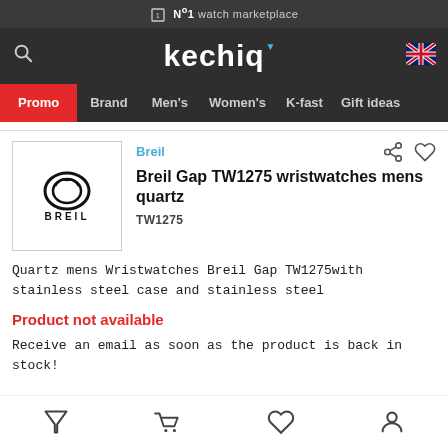Nº1 watch marketplace
kechiq — Promo | Brand | Men's | Women's | K-fast | Gift ideas
[Figure (logo): Breil brand logo with stylized G symbol and BREIL text]
Breil
Breil Gap TW1275 wristwatches mens quartz
TW1275
Quartz mens Wristwatches Breil Gap TW1275with stainless steel case and stainless steel
Product not available
Receive an email as soon as the product is back in stock!